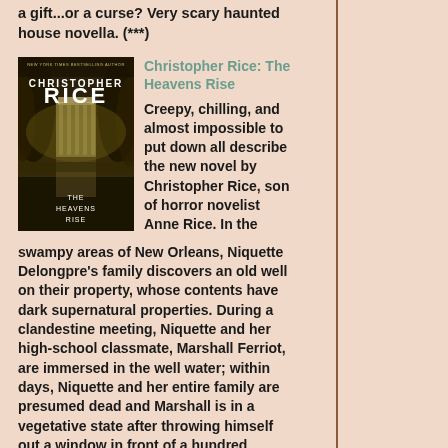a gift...or a curse? Very scary haunted house novella. (***)
[Figure (photo): Book cover of 'The Heavens Rise' by Christopher Rice, showing a dark swampy scene with a large Southern mansion reflected in murky water surrounded by trees with Spanish moss. White text reads 'Christopher Rice' and 'The Heavens Rise'.]
Christopher Rice: The Heavens Rise
Creepy, chilling, and almost impossible to put down all describe the new novel by Christopher Rice, son of horror novelist Anne Rice. In the swampy areas of New Orleans, Niquette Delongpre's family discovers an old well on their property, whose contents have dark supernatural properties. During a clandestine meeting, Niquette and her high-school classmate, Marshall Ferriot, are immersed in the well water; within days, Niquette and her entire family are presumed dead and Marshall is in a vegetative state after throwing himself out a window in front of a hundred onlookers during a black-tie fundraising